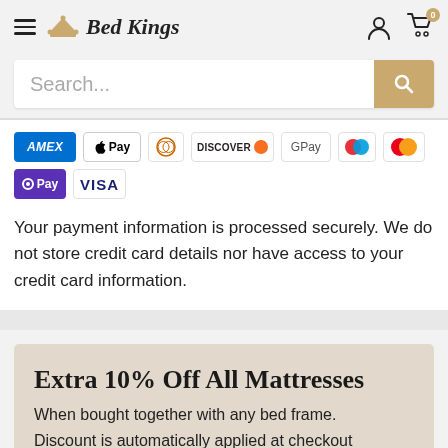Bed Kings
Search...
[Figure (other): Payment method icons: Amex, Apple Pay, Diners, Discover, Google Pay, Maestro, Mastercard, OPay, Visa]
Your payment information is processed securely. We do not store credit card details nor have access to your credit card information.
Extra 10% Off All Mattresses
When bought together with any bed frame.
Discount is automatically applied at checkout